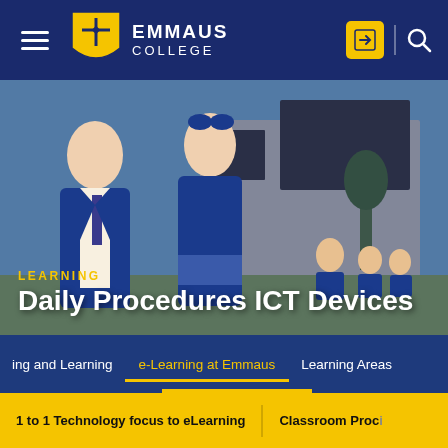EMMAUS COLLEGE
[Figure (photo): Two Emmaus College students in blue blazers smiling in front of a modern school building, with more students visible in background]
LEARNING
Daily Procedures ICT Devices
ing and Learning   e-Learning at Emmaus   Learning Areas
1 to 1 Technology focus to eLearning   Classroom Proc…